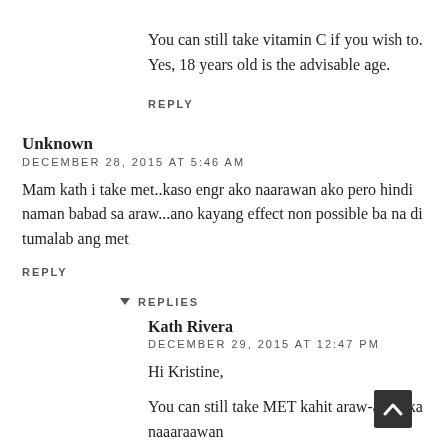You can still take vitamin C if you wish to. Yes, 18 years old is the advisable age.
REPLY
Unknown
DECEMBER 28, 2015 AT 5:46 AM
Mam kath i take met..kaso engr ako naarawan ako pero hindi naman babad sa araw...ano kayang effect non possible ba na di tumalab ang met
REPLY
REPLIES
Kath Rivera
DECEMBER 29, 2015 AT 12:47 PM
Hi Kristine,
You can still take MET kahit araw-araw ka naaaraawan